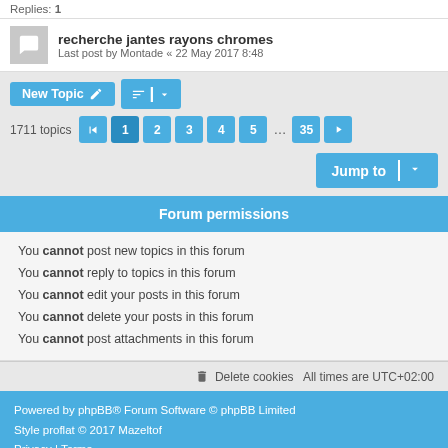Replies: 1
recherche jantes rayons chromes
Last post by Montade « 22 May 2017 8:48
New Topic
1711 topics  1 2 3 4 5 … 35
Jump to
Forum permissions
You cannot post new topics in this forum
You cannot reply to topics in this forum
You cannot edit your posts in this forum
You cannot delete your posts in this forum
You cannot post attachments in this forum
Delete cookies   All times are UTC+02:00
Powered by phpBB® Forum Software © phpBB Limited
Style proflat © 2017 Mazeltof
Privacy | Terms